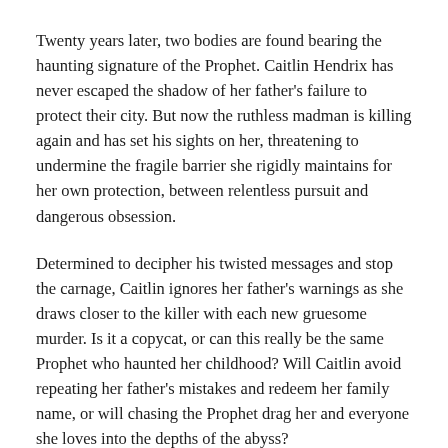Twenty years later, two bodies are found bearing the haunting signature of the Prophet. Caitlin Hendrix has never escaped the shadow of her father's failure to protect their city. But now the ruthless madman is killing again and has set his sights on her, threatening to undermine the fragile barrier she rigidly maintains for her own protection, between relentless pursuit and dangerous obsession.
Determined to decipher his twisted messages and stop the carnage, Caitlin ignores her father's warnings as she draws closer to the killer with each new gruesome murder. Is it a copycat, or can this really be the same Prophet who haunted her childhood? Will Caitlin avoid repeating her father's mistakes and redeem her family name, or will chasing the Prophet drag her and everyone she loves into the depths of the abyss?